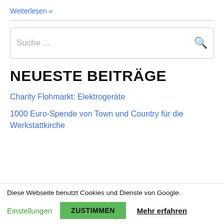Weiterlesen »
NEUESTE BEITRÄGE
Charity Flohmarkt: Elektrogeräte
1000 Euro-Spende von Town und Country für die Werkstattkirche
Diese Webseite benutzt Cookies und Dienste von Google.
Einstellungen   ZUSTIMMEN   Mehr erfahren